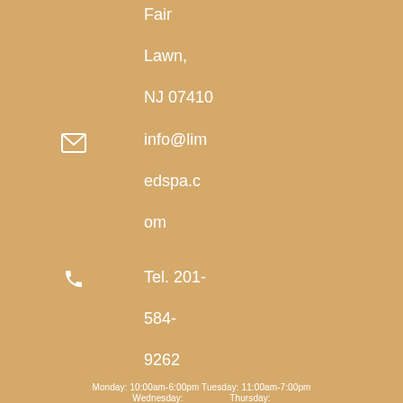Fair
Lawn,
NJ 07410
info@limedspa.com
Tel. 201-584-9262
Monday: 10:00am-6:00pm Tuesday: 11:00am-7:00pm
Wednesday: ... Thursday: